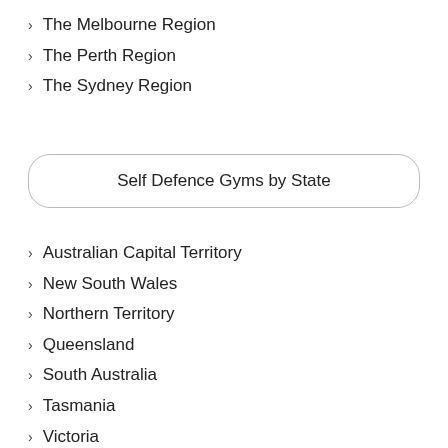The Melbourne Region
The Perth Region
The Sydney Region
Self Defence Gyms by State
Australian Capital Territory
New South Wales
Northern Territory
Queensland
South Australia
Tasmania
Victoria
Western Australia
Other Related Links